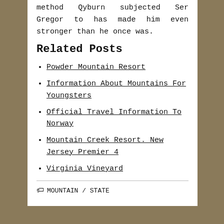method Qyburn subjected Ser Gregor to has made him even stronger than he once was.
Related Posts
Powder Mountain Resort
Information About Mountains For Youngsters
Official Travel Information To Norway
Mountain Creek Resort. New Jersey Premier 4
Virginia Vineyard
🏷 MOUNTAIN / STATE